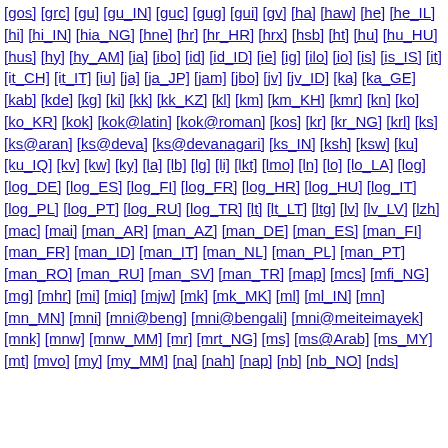[gos] [grc] [gu] [gu_IN] [guc] [gug] [gui] [gv] [ha] [haw] [he] [he_IL] [hi] [hi_IN] [hia_NG] [hne] [hr] [hr_HR] [hrx] [hsb] [ht] [hu] [hu_HU] [hus] [hy] [hy_AM] [ia] [ibo] [id] [id_ID] [ie] [ig] [ilo] [io] [is] [is_IS] [it] [it_CH] [it_IT] [iu] [ja] [ja_JP] [jam] [jbo] [jv] [jv_ID] [ka] [ka_GE] [kab] [kde] [kg] [ki] [kk] [kk_KZ] [kl] [km] [km_KH] [kmr] [kn] [ko] [ko_KR] [kok] [kok@latin] [kok@roman] [kos] [kr] [kr_NG] [krl] [ks] [ks@aran] [ks@deva] [ks@devanagari] [ks_IN] [ksh] [ksw] [ku] [ku_IQ] [kv] [kw] [ky] [la] [lb] [lg] [li] [lkt] [lmo] [ln] [lo] [lo_LA] [log] [log_DE] [log_ES] [log_FI] [log_FR] [log_HR] [log_HU] [log_IT] [log_PL] [log_PT] [log_RU] [log_TR] [lt] [lt_LT] [ltg] [lv] [lv_LV] [lzh] [mac] [mai] [man_AR] [man_AZ] [man_DE] [man_ES] [man_FI] [man_FR] [man_ID] [man_IT] [man_NL] [man_PL] [man_PT] [man_RO] [man_RU] [man_SV] [man_TR] [map] [mcs] [mfi_NG] [mg] [mhr] [mi] [miq] [mjw] [mk] [mk_MK] [ml] [ml_IN] [mn] [mn_MN] [mni] [mni@beng] [mni@bengali] [mni@meiteimayek] [mnk] [mnw] [mnw_MM] [mr] [mrt_NG] [ms] [ms@Arab] [ms_MY] [mt] [mvo] [my] [my_MM] [na] [nah] [nap] [nb] [nb_NO] [nds]